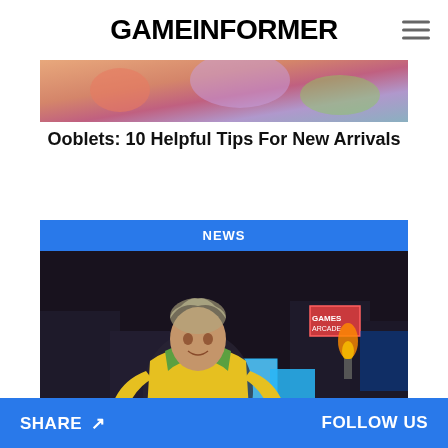GAMEINFORMER
[Figure (photo): Colorful top portion of Ooblets game screenshot, partially visible at top of page]
Ooblets: 10 Helpful Tips For New Arrivals
[Figure (screenshot): News card with blue NEWS badge header and Borderlands game screenshot showing a character in a yellow jacket in a neon-lit urban environment]
New Tales From The Borderlands Looks And Feels Familiar In Extended Gameplay Demo
SHARE  FOLLOW US